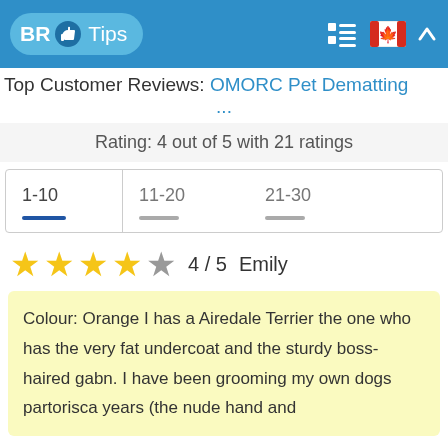BR Tips
Top Customer Reviews: OMORC Pet Dematting ...
Rating: 4 out of 5 with 21 ratings
| 1-10 | 11-20 | 21-30 |
| --- | --- | --- |
★★★★☆ 4 / 5   Emily
Colour: Orange I has a Airedale Terrier the one who has the very fat undercoat and the sturdy boss-haired gabn. I have been grooming my own dogs partorisca years (the nude hand and